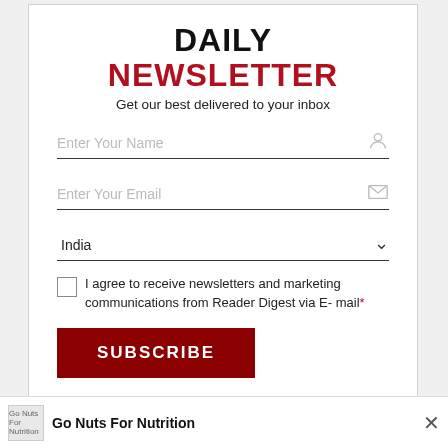DAILY NEWSLETTER
Get our best delivered to your inbox
Enter Your Name
Enter Your Email
India
I agree to receive newsletters and marketing communications from Reader Digest via E- mail*
SUBSCRIBE
Go Nuts For Nutrition